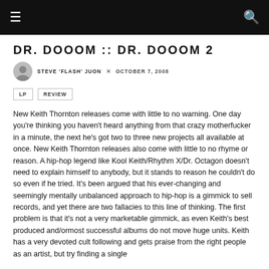DR. DOOOM :: DR. DOOOM 2
STEVE 'FLASH' JUON × OCTOBER 7, 2008
LP
REVIEW
New Keith Thornton releases come with little to no warning. One day you're thinking you haven't heard anything from that crazy motherfucker in a minute, the next he's got two to three new projects all available at once. New Keith Thornton releases also come with little to no rhyme or reason. A hip-hop legend like Kool Keith/Rhythm X/Dr. Octagon doesn't need to explain himself to anybody, but it stands to reason he couldn't do so even if he tried. It's been argued that his ever-changing and seemingly mentally unbalanced approach to hip-hop is a gimmick to sell records, and yet there are two fallacies to this line of thinking. The first problem is that it's not a very marketable gimmick, as even Keith's best produced and/ormost successful albums do not move huge units. Keith has a very devoted cult following and gets praise from the right people as an artist, but try finding a single